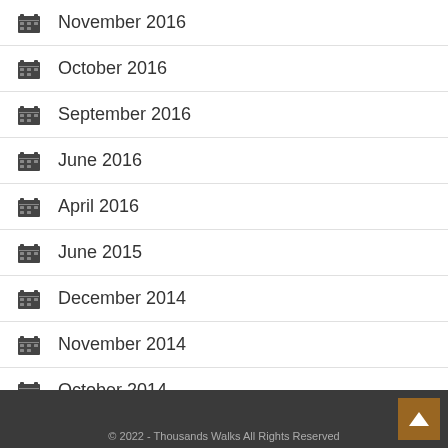November 2016
October 2016
September 2016
June 2016
April 2016
June 2015
December 2014
November 2014
October 2014
December 2013
July 2013
© 2022 - Thousands Walks All Rights Reserved